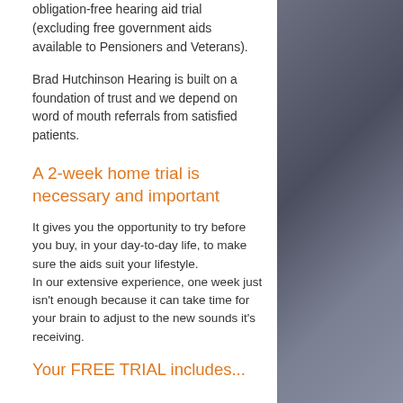obligation-free hearing aid trial (excluding free government aids available to Pensioners and Veterans).
Brad Hutchinson Hearing is built on a foundation of trust and we depend on word of mouth referrals from satisfied patients.
A 2-week home trial is necessary and important
It gives you the opportunity to try before you buy, in your day-to-day life, to make sure the aids suit your lifestyle. In our extensive experience, one week just isn't enough because it can take time for your brain to adjust to the new sounds it's receiving.
Your FREE TRIAL includes...